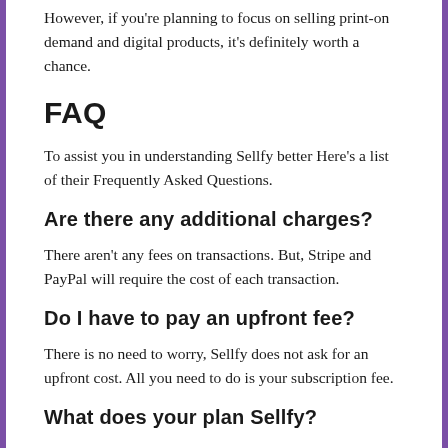However, if you're planning to focus on selling print-on demand and digital products, it's definitely worth a chance.
FAQ
To assist you in understanding Sellfy better Here's a list of their Frequently Asked Questions.
Are there any additional charges?
There aren't any fees on transactions. But, Stripe and PayPal will require the cost of each transaction.
Do I have to pay an upfront fee?
There is no need to worry, Sellfy does not ask for an upfront cost. All you need to do is your subscription fee.
What does your plan Sellfy?